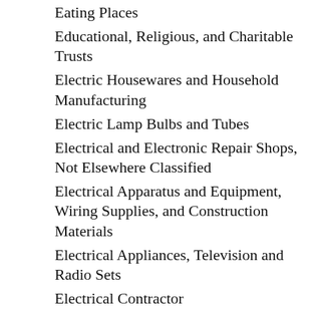Eating Places
Educational, Religious, and Charitable Trusts
Electric Housewares and Household Manufacturing
Electric Lamp Bulbs and Tubes
Electrical and Electronic Repair Shops, Not Elsewhere Classified
Electrical Apparatus and Equipment, Wiring Supplies, and Construction Materials
Electrical Appliances, Television and Radio Sets
Electrical Contractor
Electrical Industrial Apparatus, Not Elsewhere Classified
Electrical Lighting Stores
Electrical Machinery, Equipment, and Supplies, Not Elsewhere Classified
Electrical Work